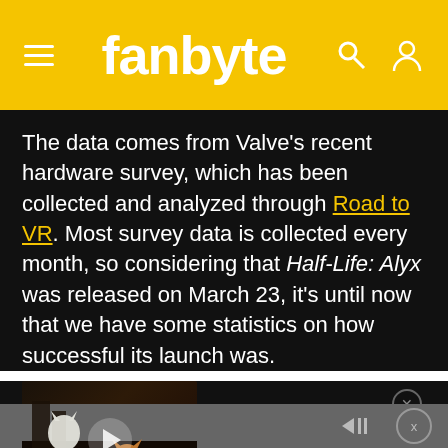fanbyte
The data comes from Valve’s recent hardware survey, which has been collected and analyzed through Road to VR. Most survey data is collected every month, so considering that Half-Life: Alyx was released on March 23, it’s until now that we have some statistics on how successful its launch was.
[Figure (screenshot): Promotional video thumbnail for 'Stray? More Like Hey! This Game’s Pretty Good | First Byte' showing a cat game scene with a First Byte badge and play button overlay]
Stray? More Like Hey! This Game’s Pretty Good | First Byte
Ad controls bar